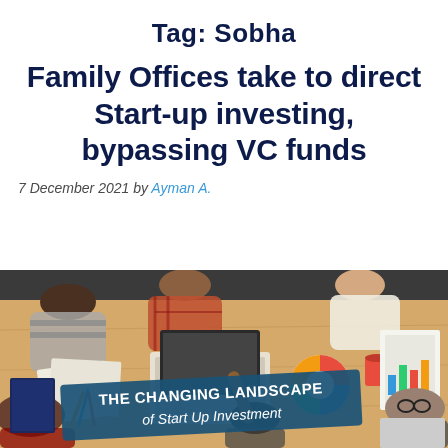Tag: Sobha
Family Offices take to direct Start-up investing, bypassing VC funds
7 December 2021 by Ayman A.
[Figure (photo): Overhead view of a group of people working together around a table with laptops, papers, and charts. A blue banner overlay reads 'THE CHANGING LANDSCAPE of Start Up Investment'.]